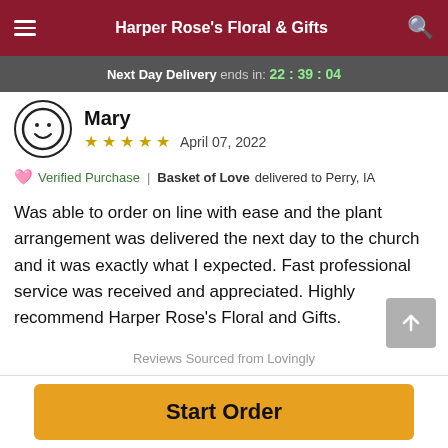Harper Rose's Floral & Gifts
Next Day Delivery ends in: 22:39:04
Mary ★★★★★ April 07, 2022
Verified Purchase | Basket of Love delivered to Perry, IA
Was able to order on line with ease and the plant arrangement was delivered the next day to the church and it was exactly what I expected. Fast professional service was received and appreciated. Highly recommend Harper Rose's Floral and Gifts.
Reviews Sourced from Lovingly
Start Order